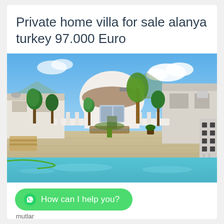Private home villa for sale alanya turkey 97.000 Euro
[Figure (photo): Exterior photo of a white villa with a swimming pool in the foreground, surrounded by trees and other buildings under a blue sky with clouds, located in Alanya, Turkey.]
How can I help you?
mutlar